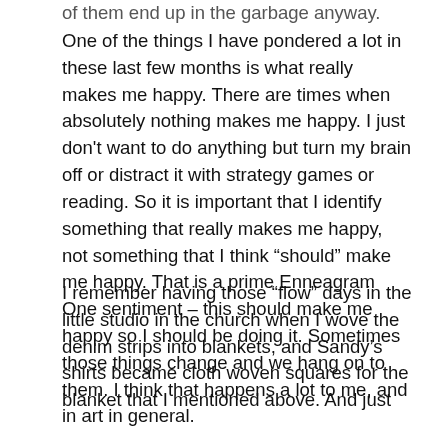of them end up in the garbage anyway.
One of the things I have pondered a lot in these last few months is what really makes me happy. There are times when absolutely nothing makes me happy. I just don't want to do anything but turn my brain off or distract it with strategy games or reading. So it is important that I identify something that really makes me happy, not something that I think “should” make me happy. That is a prime Enneagram One sentiment – this should make me happy so I should be doing it. Sometimes those things change and we hang on to them. I think that happens a lot to me, and in art in general.
I remember having those “flow” days in the little studio in the church when I wove the denim strips into blankets, and Sandy’s shirts became cloth woven squares for the blanket that I mentioned above. And just